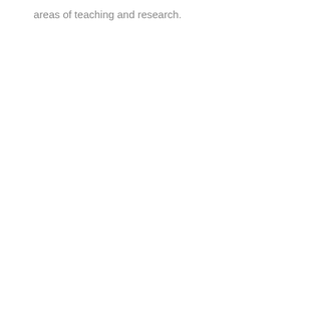areas of teaching and research.